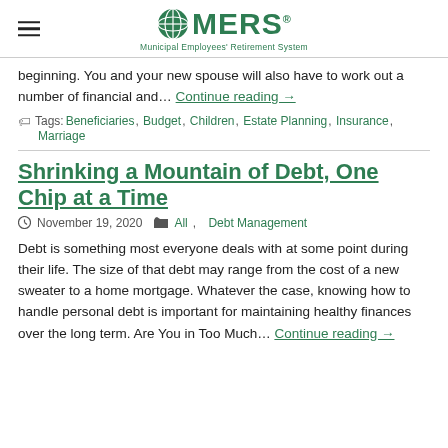MERS — Municipal Employees' Retirement System
beginning. You and your new spouse will also have to work out a number of financial and… Continue reading →
Tags: Beneficiaries, Budget, Children, Estate Planning, Insurance, Marriage
Shrinking a Mountain of Debt, One Chip at a Time
November 19, 2020   All, Debt Management
Debt is something most everyone deals with at some point during their life. The size of that debt may range from the cost of a new sweater to a home mortgage. Whatever the case, knowing how to handle personal debt is important for maintaining healthy finances over the long term. Are You in Too Much… Continue reading →